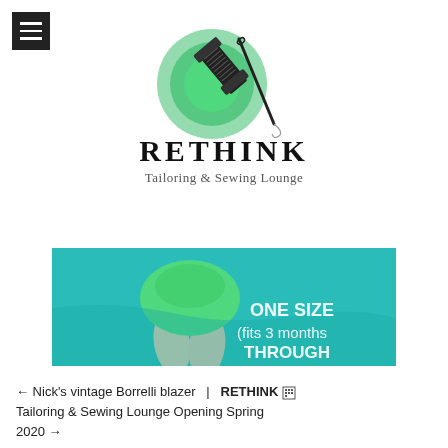[Figure (logo): Rethink Tailoring & Sewing Lounge logo with green circular thread spool and needle graphic above stylized serif 'RETHINK' text and subtitle 'Tailoring & Sewing Lounge']
[Figure (photo): Baby lying on teal/turquoise fabric wearing a green dress, with text overlay reading 'ONE SIZE (fits 3 months THROUGH']
← Nick's vintage Borrelli blazer  |  RETHINK Tailoring & Sewing Lounge Opening Spring 2020 →